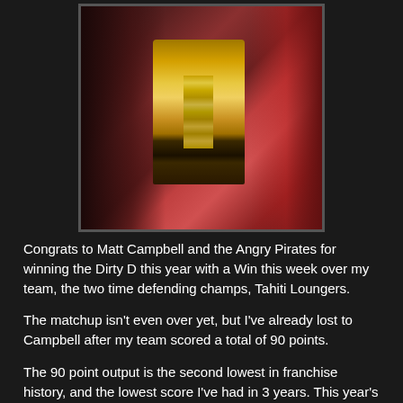[Figure (photo): Two men holding a large wooden trophy/plaque with gold engraved plates. One man is wearing a red jersey. Photo taken in a dark setting.]
Congrats to Matt Campbell and the Angry Pirates for winning the Dirty D this year with a Win this week over my team, the two time defending champs, Tahiti Loungers.
The matchup isn't even over yet, but I've already lost to Campbell after my team scored a total of 90 points.
The 90 point output is the second lowest in franchise history, and the lowest score I've had in 3 years. This year's most productive fantasy producer- Andrew Luck- was pulled in the